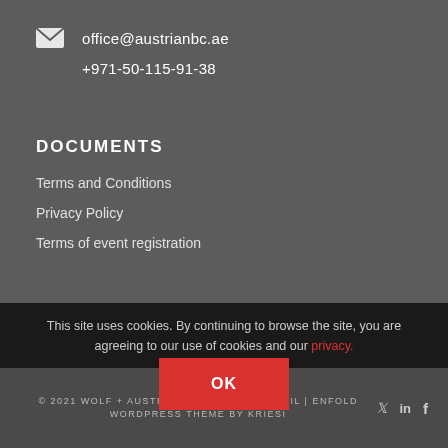office@austrianbc.ae
+971-50-115-91-38
DOCUMENTS
Terms and Conditions
Privacy Policy
Terms of event registration
This site uses cookies. By continuing to browse the site, you are agreeing to our use of cookies and our privacy.
OK
© 2021 WOLF + AUSTRIAN BUSINESS COUNCIL | ENFOLD WORDPRESS THEME BY KRIESI